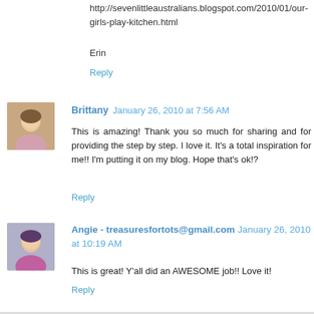http://sevenlittleaustralians.blogspot.com/2010/01/our-girls-play-kitchen.html
Erin
Reply
Brittany  January 26, 2010 at 7:56 AM
This is amazing! Thank you so much for sharing and for providing the step by step. I love it. It's a total inspiration for me!! I'm putting it on my blog. Hope that's ok!?
Reply
Angie - treasuresfortots@gmail.com  January 26, 2010 at 10:19 AM
This is great! Y'all did an AWESOME job!! Love it!
Reply